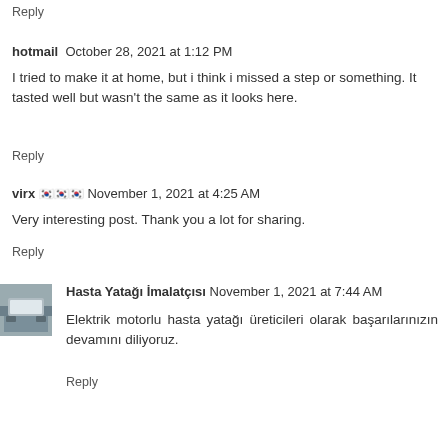Reply
hotmail  October 28, 2021 at 1:12 PM
I tried to make it at home, but i think i missed a step or something. It tasted well but wasn't the same as it looks here.
Reply
virx 🇰🇷🇰🇷🇰🇷  November 1, 2021 at 4:25 AM
Very interesting post. Thank you a lot for sharing.
Reply
Hasta Yatağı İmalatçısı  November 1, 2021 at 7:44 AM
Elektrik motorlu hasta yatağı üreticileri olarak başarılarınızın devamını diliyoruz.
Reply